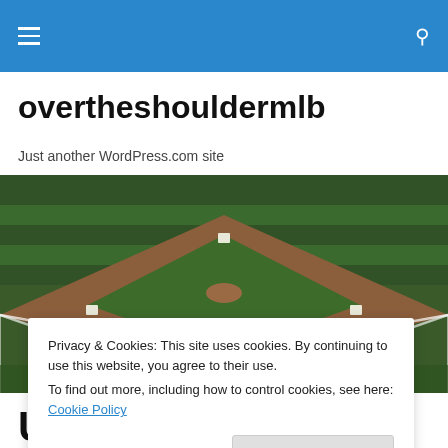overtheshouldermlb — navigation bar with hamburger menu and search icon
overtheshouldermlb
Just another WordPress.com site
[Figure (photo): Aerial/wide-angle view of a baseball field showing the infield diamond, pitcher's mound, bases, and surrounding green grass. The image is taken from an elevated angle looking down the baseline.]
Privacy & Cookies: This site uses cookies. By continuing to use this website, you agree to their use.
To find out more, including how to control cookies, see here: Cookie Policy
Close and accept
Us Spring